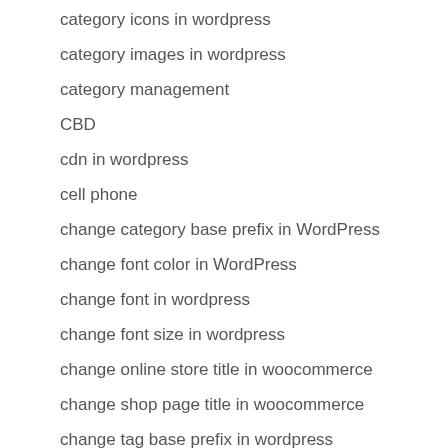category icons in wordpress
category images in wordpress
category management
CBD
cdn in wordpress
cell phone
change category base prefix in WordPress
change font color in WordPress
change font in wordpress
change font size in wordpress
change online store title in woocommerce
change shop page title in woocommerce
change tag base prefix in wordpress